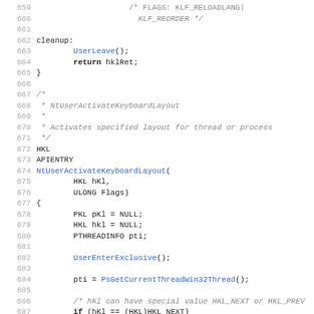[Figure (screenshot): Source code listing lines 659-691 of a C/C++ file showing keyboard layout activation function NtUserActivateKeyboardLayout with line numbers in gray, function calls in blue, and keywords in bold.]